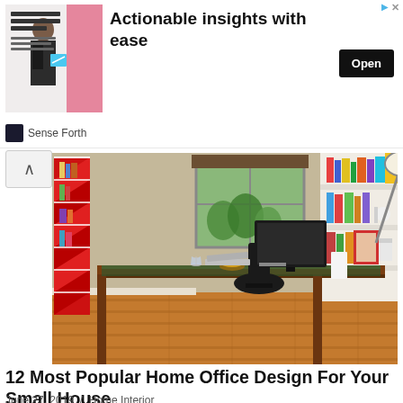[Figure (screenshot): Advertisement banner: image of a man in suit with text NEW YORK, LONDON OR SINGAPORE, headline Actionable insights with ease, Open button, Sense Forth logo]
[Figure (photo): Home office interior: modern desk with computer, red geometric bookshelf on left wall, white wall shelves with books on right, hardwood floor, window with plants visible outside, floor lamp]
12 Most Popular Home Office Design For Your Small House
June 27, 2019  /  Home Interior